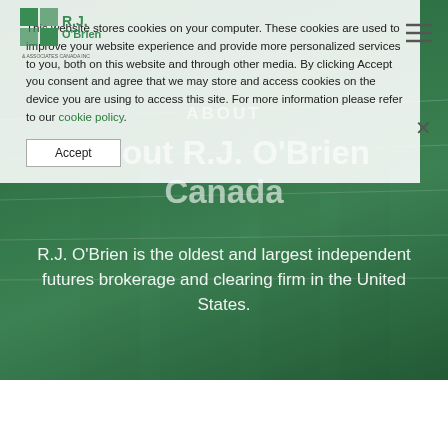[Figure (screenshot): Website screenshot of R.J. O'Brien & Associates Canada Inc. with green-tinted building background hero image, navigation header with logo and hamburger menu, cookie consent banner overlay, ABOUT section label, main title 'About R.J. O'Brien Canada', and descriptive text about the company.]
This website stores cookies on your computer. These cookies are used to improve your website experience and provide more personalized services to you, both on this website and through other media. By clicking Accept you consent and agree that we may store and access cookies on the device you are using to access this site. For more information please refer to our cookie policy.
Accept
ABOUT
About R.J. O'Brien Canada
R.J. O'Brien is the oldest and largest independent futures brokerage and clearing firm in the United States.